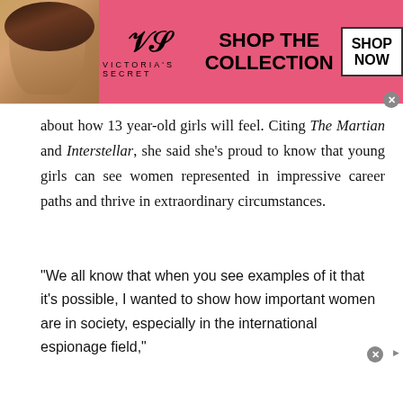[Figure (illustration): Victoria's Secret advertisement banner with pink background, model photo on left, VS logo, 'SHOP THE COLLECTION' text in bold, and 'SHOP NOW' button on right]
about how 13 year-old girls will feel. Citing The Martian and Interstellar, she said she's proud to know that young girls can see women represented in impressive career paths and thrive in extraordinary circumstances.
“We all know that when you see examples of it that it’s possible, I wanted to show how important women are in society, especially in the international espionage field,”
[Figure (illustration): NFL Shop advertisement banner with jersey image, blue bold 'NFL Shop' text, 'Free shipping on orders over $25', 'www.nflshop.com', black 'SHOP NOW' button, and navigation arrow circle]